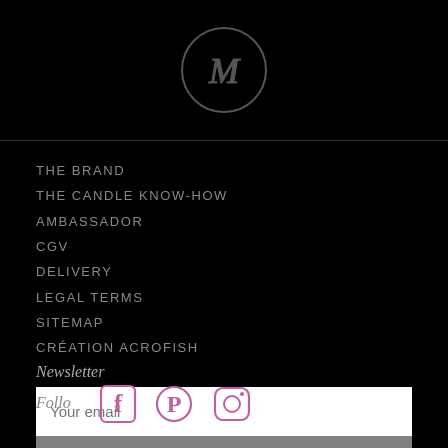[Figure (logo): Circular logo with stylized 'M' letter on dark background]
THE BRAND
THE CANDLE KNOW-HOW
AMBASSADOR
CGV
DELIVERY
LEGAL TERMS
SITEMAP
CRÉATION ACROFISH
Newsletter
Your email
OK
Follo...
[Figure (illustration): Social media icons: Facebook, Pinterest, Instagram in pink/magenta color]